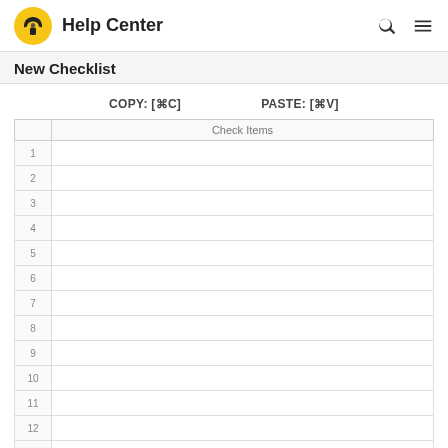Help Center
New Checklist
COPY: [⌘C]    PASTE: [⌘V]
|  | Check Items |
| --- | --- |
| 1 |  |
| 2 |  |
| 3 |  |
| 4 |  |
| 5 |  |
| 6 |  |
| 7 |  |
| 8 |  |
| 9 |  |
| 10 |  |
| 11 |  |
| 12 |  |
| 13 |  |
| 14 |  |
| 15 |  |
| 16 |  |
| 17 |  |
| 18 |  |